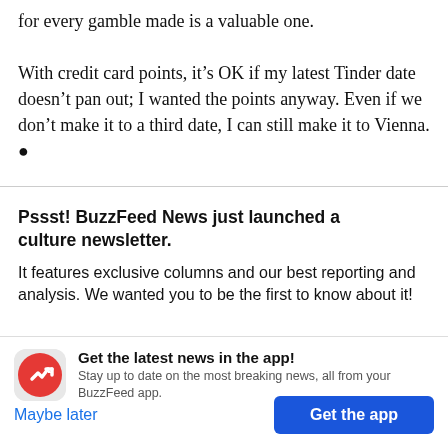for every gamble made is a valuable one.

With credit card points, it’s OK if my latest Tinder date doesn’t pan out; I wanted the points anyway. Even if we don’t make it to a third date, I can still make it to Vienna. ●
Pssst! BuzzFeed News just launched a culture newsletter.
It features exclusive columns and our best reporting and analysis. We wanted you to be the first to know about it!
[Figure (logo): BuzzFeed app icon: red circle with white arrow/trending icon]
Get the latest news in the app!
Stay up to date on the most breaking news, all from your BuzzFeed app.
Maybe later
Get the app